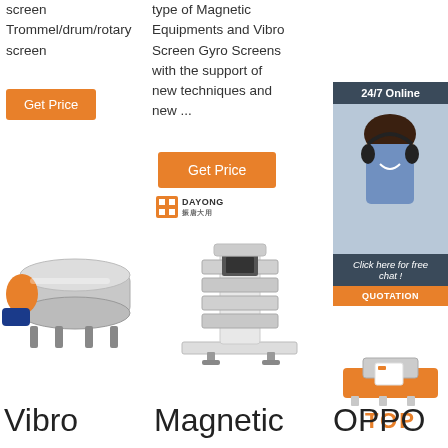screen Trommel/drum/rotary screen
[Figure (other): Orange Get Price button - column 1]
type of Magnetic Equipments and Vibro Screen Gyro Screens with the support of new techniques and new ...
[Figure (other): Orange Get Price button - column 2]
[Figure (other): 24/7 Online customer support sidebar ad with photo and QUOTATION button]
[Figure (photo): Vibro industrial screening machine - silver and orange]
[Figure (photo): Magnetic screening machine with Dayong brand logo - white]
[Figure (other): TOP badge in orange with industrial machine parts]
Vibro
Magnetic
OPPO